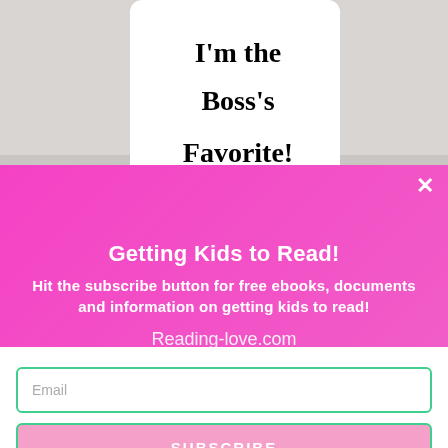[Figure (photo): A white ceramic mug with bold black text reading "I'm the Boss's Favorite!" on a light gray/white background]
Getting Kids to Read!
Hit the subscribe button for free ebooks, documents and information on getting kids to read!
Reading-love.com